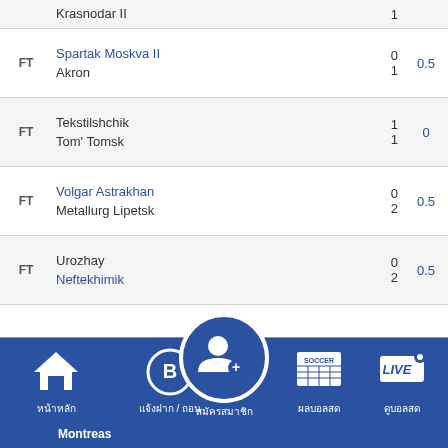| Status | Teams | Score | Odds |
| --- | --- | --- | --- |
|  | Krasnodar II | 1 |  |
| FT | Spartak Moskva II / Akron | 0 / 1 | 0.5 |
| FT | Tekstilshchik / Tom' Tomsk | 1 / 1 | 0 |
| FT | Volgar Astrakhan / Metallurg Lipetsk | 0 / 2 | 0.5 |
| FT | Urozhay / Neftekhimik | 0 / 2 | 0.5 |
| FT | Alaniya Vladikavkaz / Orenburg | 1 / 0 | 0.5 |
| FT | Torpedo Moskva / KAMAZ | 1 / 1 | 1 |
[Figure (screenshot): Mobile app bottom navigation bar with Thai labels: home, deposit/withdraw, register member (center highlighted), soccer results, watch live]
Montreas